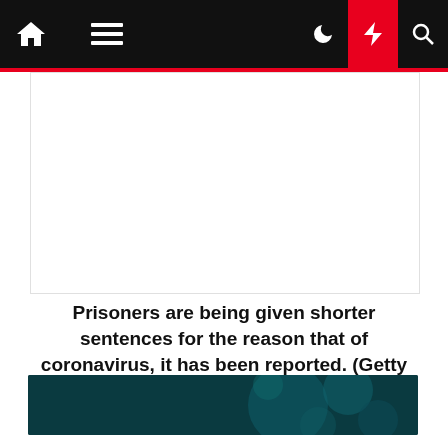Navigation bar with home, menu, dark mode, flash/breaking news, and search icons
[Figure (other): Blank white advertisement area]
Prisoners are being given shorter sentences for the reason that of coronavirus, it has been reported. (Getty Pictures)
[Figure (infographic): CORONAVIRUS Latest news on the global health emergency — banner with dark teal background and coronavirus imagery]